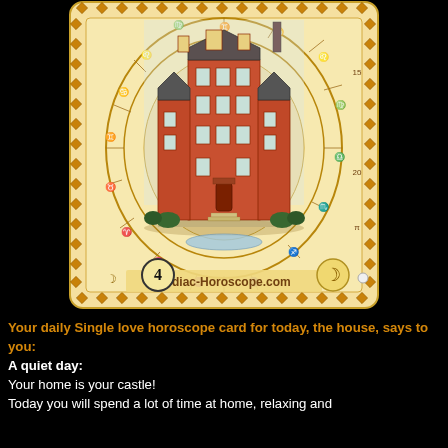[Figure (illustration): A tarot-style zodiac horoscope card showing a tall red-brick mansion/castle building centered within an oval astrological chart with diamond-pattern golden border. The card shows number '4' in a circle at bottom left, zodiac symbols, a crescent moon symbol at bottom right, and 'Zodiac-Horoscope.com' text at the bottom.]
Your daily Single love horoscope card for today, the house, says to you:
A quiet day:
Your home is your castle!
Today you will spend a lot of time at home, relaxing and